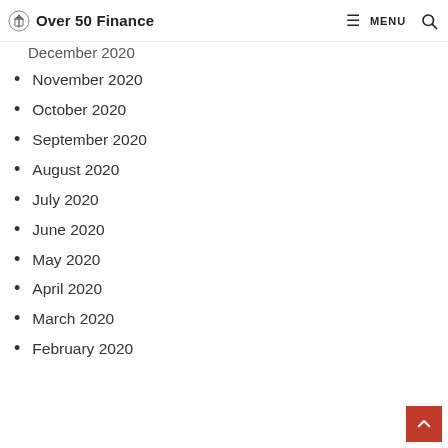Over 50 Finance  MENU
December 2020
November 2020
October 2020
September 2020
August 2020
July 2020
June 2020
May 2020
April 2020
March 2020
February 2020